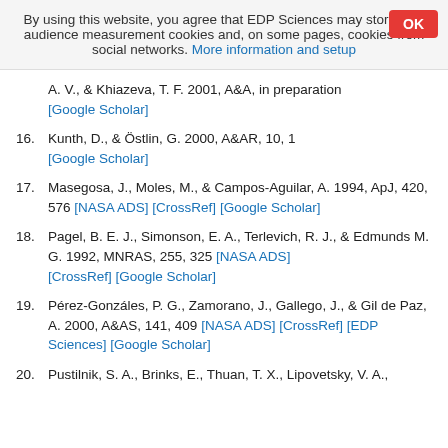By using this website, you agree that EDP Sciences may store web audience measurement cookies and, on some pages, cookies from social networks. More information and setup
A. V., & Khiazeva, T. F. 2001, A&A, in preparation [Google Scholar]
16. Kunth, D., & Östlin, G. 2000, A&AR, 10, 1 [Google Scholar]
17. Masegosa, J., Moles, M., & Campos-Aguilar, A. 1994, ApJ, 420, 576 [NASA ADS] [CrossRef] [Google Scholar]
18. Pagel, B. E. J., Simonson, E. A., Terlevich, R. J., & Edmunds M. G. 1992, MNRAS, 255, 325 [NASA ADS] [CrossRef] [Google Scholar]
19. Pérez-Gonzáles, P. G., Zamorano, J., Gallego, J., & Gil de Paz, A. 2000, A&AS, 141, 409 [NASA ADS] [CrossRef] [EDP Sciences] [Google Scholar]
20. Pustilnik, S. A., Brinks, E., Thuan, T. X., Lipovetsky, V. A.,